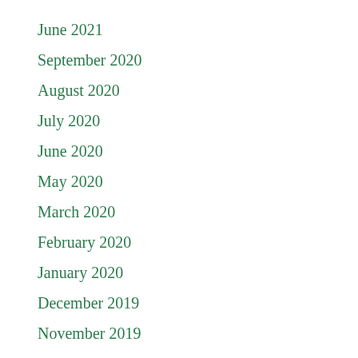June 2021
September 2020
August 2020
July 2020
June 2020
May 2020
March 2020
February 2020
January 2020
December 2019
November 2019
October 2019